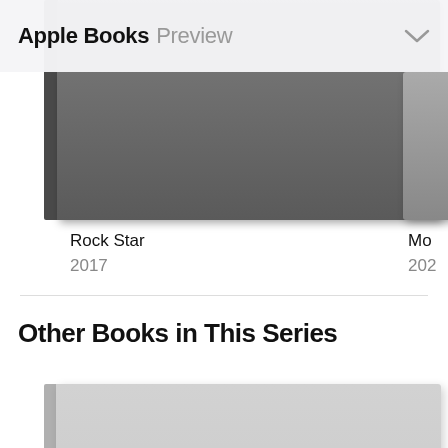Apple Books Preview
[Figure (photo): Rock Star book cover, dark gray, year 2017]
Rock Star
2017
[Figure (photo): Loving Liv book cover, lifestyle photo, year 2020]
Loving Liv
2020
[Figure (photo): Partial third book cover, partially visible, year 202x]
Mo
202
Other Books in This Series
[Figure (photo): Gray placeholder book cover, bottom left]
[Figure (photo): Gray placeholder book cover, bottom right, partially visible]